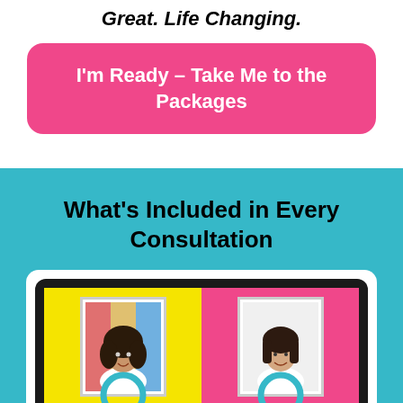Great. Life Changing.
I'm Ready – Take Me to the Packages
What's Included in Every Consultation
[Figure (illustration): A laptop screen showing two women side by side on a split screen (yellow and pink backgrounds), each with a teal circular icon overlay at the bottom, suggesting a video consultation interface.]